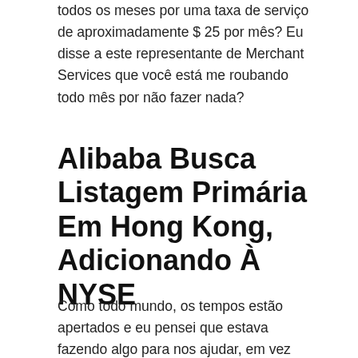todos os meses por uma taxa de serviço de aproximadamente $ 25 por mês? Eu disse a este representante de Merchant Services que você está me roubando todo mês por não fazer nada?
Alibaba Busca Listagem Primária Em Hong Kong, Adicionando À NYSE
Como todo mundo, os tempos estão apertados e eu pensei que estava fazendo algo para nos ajudar, em vez disso, gastei dinheiro que não precisávamos gastar. Eu